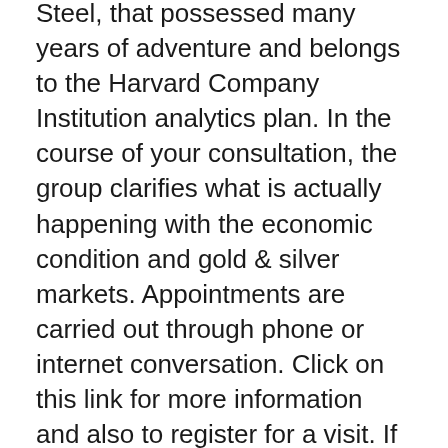Steel, that possessed many years of adventure and belongs to the Harvard Company Institution analytics plan. In the course of your consultation, the group clarifies what is actually happening with the economic condition and gold & silver markets. Appointments are carried out through phone or internet conversation. Click on this link for more information and also to register for a visit. If you are more pleasant reading, we welcome you to get the free overview.
Are actually gold IRAs challenging to sell off? Along With Augusta Gold And Silvers, you may rapidly arrange for your gold and silver assets to be transported directly to you by means of your custodian, or even you can